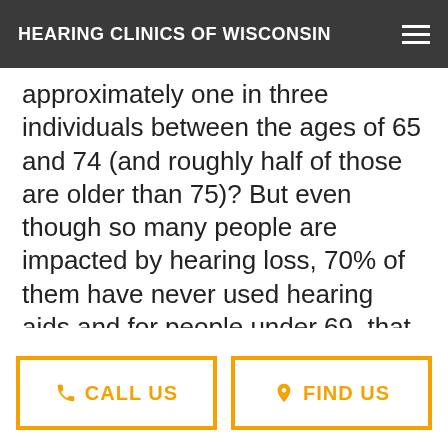HEARING CLINICS OF WISCONSIN
approximately one in three individuals between the ages of 65 and 74 (and roughly half of those are older than 75)? But even though so many people are impacted by hearing loss, 70% of them have never used hearing aids and for people under 69, that number drops to 16%. At least 20 million people cope with neglected
CALL US | FIND US